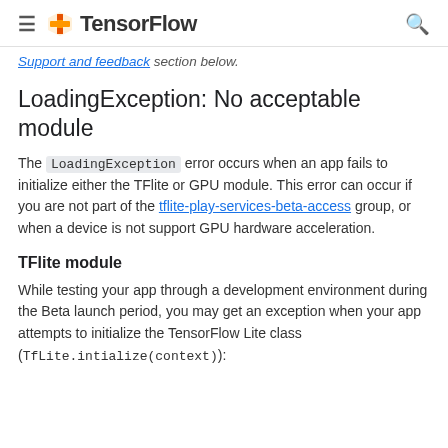TensorFlow
Support and feedback section below.
LoadingException: No acceptable module
The LoadingException error occurs when an app fails to initialize either the TFlite or GPU module. This error can occur if you are not part of the tflite-play-services-beta-access group, or when a device is not support GPU hardware acceleration.
TFlite module
While testing your app through a development environment during the Beta launch period, you may get an exception when your app attempts to initialize the TensorFlow Lite class (TfLite.intialize(context)):